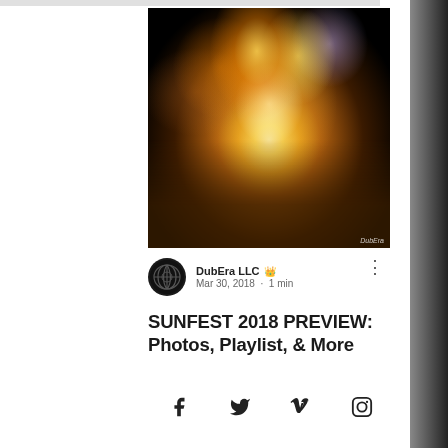[Figure (photo): Night-time music festival photo showing a large crowd in the foreground with fireworks and stage lighting above, a Ford-branded banner visible on the right side, and a DubEra watermark in the bottom right corner.]
DubEra LLC 👑
Mar 30, 2018 · 1 min
SUNFEST 2018 PREVIEW: Photos, Playlist, & More